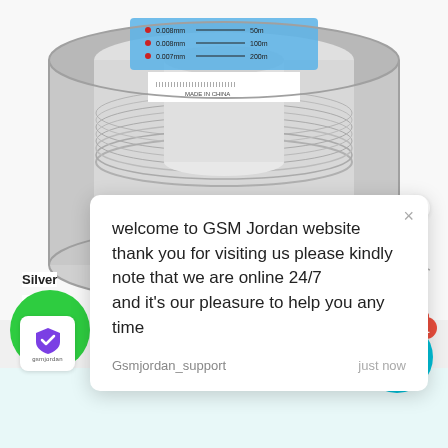[Figure (photo): Product photo of a spool of thin silver/metallic wire or fishing line, labeled with sizes 0.008mm, 0.007mm and lengths 50m, 100m, 200m. Made in China label and barcode visible on blue packaging.]
Silver
7
[Figure (logo): GSM Jordan logo - purple shield/checkmark icon with 'gsmjordan' text below]
welcome to GSM Jordan website
thank you for visiting us please kindly note that we are online 24/7
and it's our pleasure to help you any time
Gsmjordan_support
just now
[Figure (screenshot): Green circle button at bottom left, teal chat icon button with badge showing number 1 at bottom right]